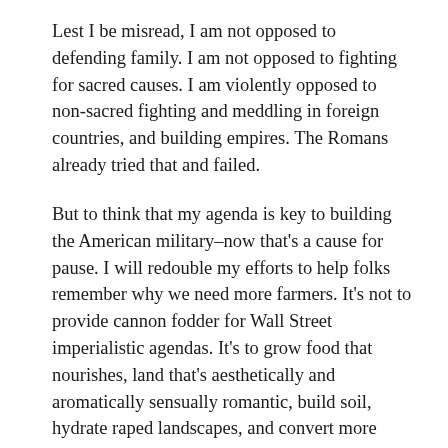Lest I be misread, I am not opposed to defending family. I am not opposed to fighting for sacred causes. I am violently opposed to non-sacred fighting and meddling in foreign countries, and building empires. The Romans already tried that and failed.
But to think that my agenda is key to building the American military–now that's a cause for pause. I will redouble my efforts to help folks remember why we need more farmers. It's not to provide cannon fodder for Wall Street imperialistic agendas. It's to grow food that nourishes, land that's aesthetically and aromatically sensually romantic, build soil, hydrate raped landscapes, and convert more solar energy into biomass than nature would in a static state. I can think of many, many righteous and noble reasons to have more